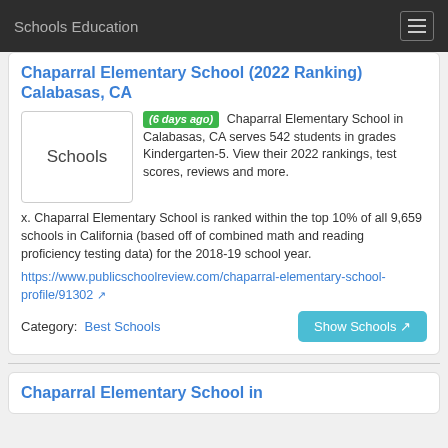Schools Education
Chaparral Elementary School (2022 Ranking) Calabasas, CA
[Figure (illustration): Schools placeholder image box with text 'Schools']
(6 days ago) Chaparral Elementary School in Calabasas, CA serves 542 students in grades Kindergarten-5. View their 2022 rankings, test scores, reviews and more. x. Chaparral Elementary School is ranked within the top 10% of all 9,659 schools in California (based off of combined math and reading proficiency testing data) for the 2018-19 school year.
https://www.publicschoolreview.com/chaparral-elementary-school-profile/91302 ↗
Category: Best Schools
Show Schools ↗
Chaparral Elementary School in